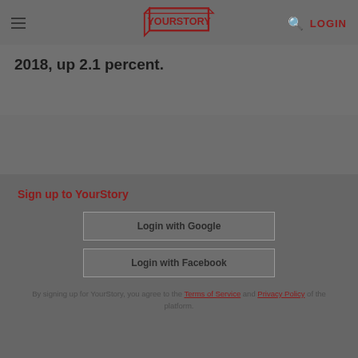YourStory — LOGIN
2018, up 2.1 percent.
Sign up to YourStory
Login with Google
Login with Facebook
By signing up for YourStory, you agree to the Terms of Service and Privacy Policy of the platform.